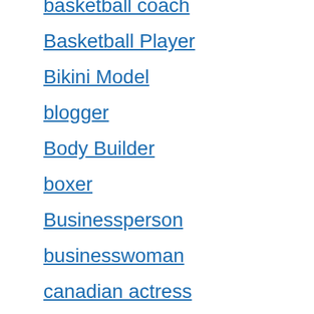basketball coach
Basketball Player
Bikini Model
blogger
Body Builder
boxer
Businessperson
businesswoman
canadian actress
Car mechanic
Car TV show Cast
Celebrity
Celebrity Children
Celebrity father